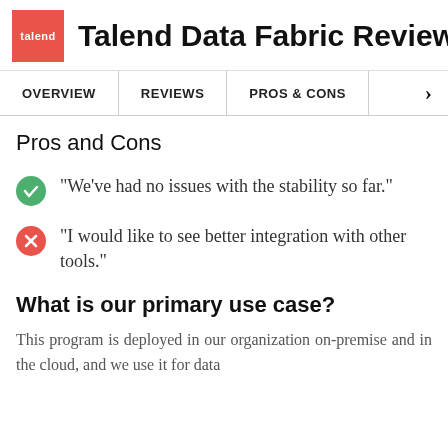Talend Data Fabric Reviews
OVERVIEW | REVIEWS | PROS & CONS
Pros and Cons
"We've had no issues with the stability so far."
"I would like to see better integration with other tools."
What is our primary use case?
This program is deployed in our organization on-premise and in the cloud, and we use it for data